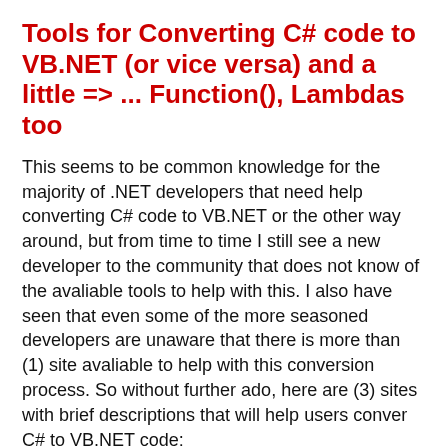Tools for Converting C# code to VB.NET (or vice versa) and a little => ... Function(), Lambdas too
This seems to be common knowledge for the majority of .NET developers that need help converting C# code to VB.NET or the other way around, but from time to time I still see a new developer to the community that does not know of the avaliable tools to help with this. I also have seen that even some of the more seasoned developers are unaware that there is more than (1) site avaliable to help with this conversion process. So without further ado, here are (3) sites with brief descriptions that will help users conver C# to VB.NET code:
developerFusion's Convert C# to VB.NET - This is probably the most well know site and referenced most often. I typically start with this one: http://www.developerfusion.com/tools/convert/csharp-to-vb/
Code Converter Provided by Telerik - This is another...